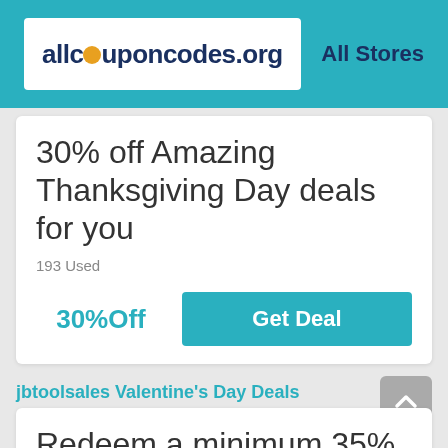allcouponcodes.org   All Stores
30% off Amazing Thanksgiving Day deals for you
193 Used
30%Off
Get Deal
jbtoolsales Valentine's Day Deals
Redeem a minimum 35% off Valentine's Day